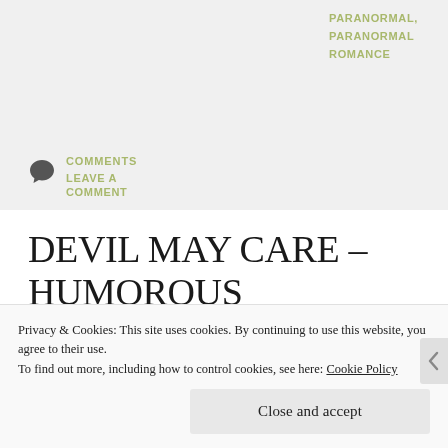PARANORMAL,
PARANORMAL
ROMANCE
COMMENTS
LEAVE A COMMENT
DEVIL MAY CARE – HUMOROUS
Privacy & Cookies: This site uses cookies. By continuing to use this website, you agree to their use.
To find out more, including how to control cookies, see here: Cookie Policy
Close and accept